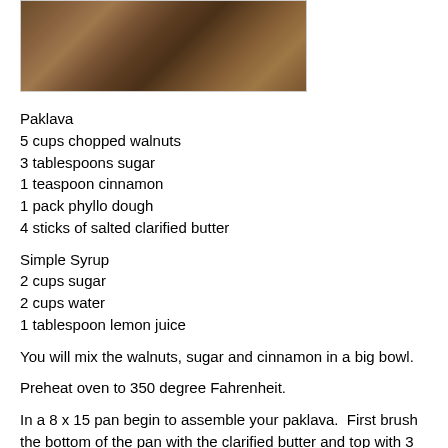[Figure (photo): Close-up photo of paklava (baklava) showing layered pastry with nuts, partially cropped at top of page]
Paklava
5 cups chopped walnuts
3 tablespoons sugar
1 teaspoon cinnamon
1 pack phyllo dough
4 sticks of salted clarified butter
Simple Syrup
2 cups sugar
2 cups water
1 tablespoon lemon juice
You will mix the walnuts, sugar and cinnamon in a big bowl.
Preheat oven to 350 degree Fahrenheit.
In a 8 x 15 pan begin to assemble your paklava.  First brush the bottom of the pan with the clarified butter and top with 3